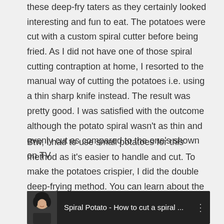these deep-fry taters as they certainly looked interesting and fun to eat. The potatoes were cut with a custom spiral cutter before being fried. As I did not have one of those spiral cutting contraption at home, I resorted to the manual way of cutting the potatoes i.e. using a thin sharp knife instead. The result was pretty good. I was satisfied with the outcome although the potato spiral wasn't as thin and evenly cut as compared to the one's shown on TV.
Btw, I had to use small potatoes for this method as it's easier to handle and cut. To make the potatoes crispier, I did the double deep-frying method. You can learn about the frying method here.
[Figure (screenshot): YouTube video thumbnail showing a woman's avatar on the left against dark background, video title 'Spiral Potato - How to cut a spiral ...' and a three-dot menu icon on the right. Below the title bar there is a partial view of food on a skewer.]